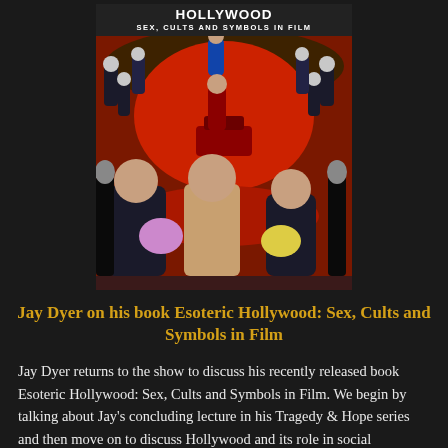[Figure (illustration): Book cover of 'Esoteric Hollywood: Sex, Cults and Symbols in Film' showing robed figures in a circle with masked/skeletal characters, people in foreground making expressive poses, against a dark red background. Top text reads 'HOLLYWOOD' and 'SEX, CULTS AND SYMBOLS IN FILM'.]
Jay Dyer on his book Esoteric Hollywood: Sex, Cults and Symbols in Film
Jay Dyer returns to the show to discuss his recently released book Esoteric Hollywood: Sex, Cults and Symbols in Film. We begin by talking about Jay's concluding lecture in his Tragedy & Hope series and then move on to discuss Hollywood and its role in social engineering and shaping culture. The discussion involves Tinsel Town's ties to the Occult, intelligence agencies, military and